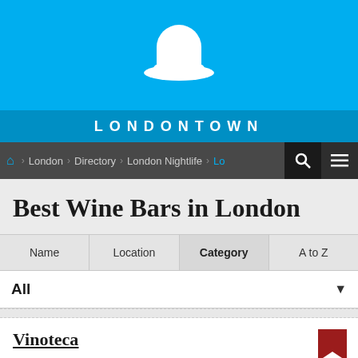[Figure (logo): LondonTown website header with bowler hat logo icon on blue background and LONDONTOWN text]
LONDONTOWN
London > Directory > London Nightlife > Lo
Best Wine Bars in London
Name
Location
Category
A to Z
All
Vinoteca
7 St John Street, Clerkenwell, EC1M  4AA
Wine bars in the UK were given a bad name in the 1980s but